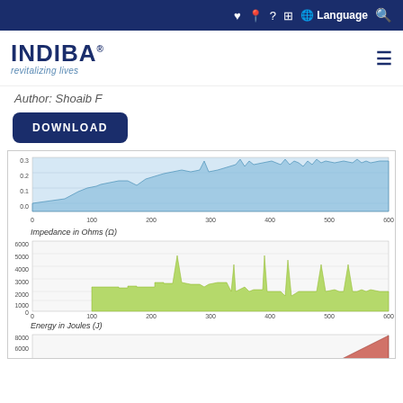INDIBA® revitalizing lives — Navigation bar with icons and Language selector
[Figure (logo): INDIBA logo with text 'revitalizing lives']
Author: Shoaib F
DOWNLOAD
[Figure (continuous-plot): Top area chart showing impedance-like waveform in blue/grey tones, x-axis 0-600, y-axis 0.0-0.3]
Impedance in Ohms (Ω)
[Figure (continuous-plot): Bar/area chart showing energy values in green, x-axis 0-600, y-axis 0-6000, with several tall spikes reaching up to ~5000]
Energy in Joules (J)
[Figure (continuous-plot): Partially visible chart at bottom, red area fill, y-axis showing 8000+, x-axis values not visible]